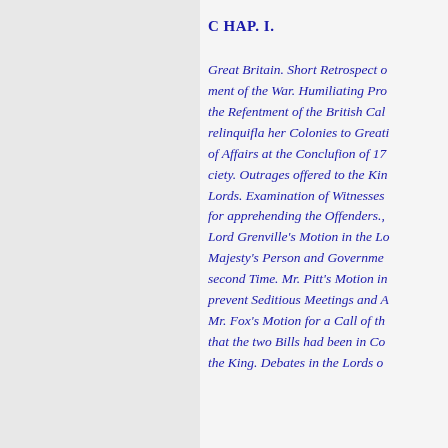C HAP. I.
Great Britain. Short Retrospect of the Commencement of the War. Humiliating Proposals. the Refentment of the British Cabinet. relinquifla her Colonies to Great. State of Affairs at the Conclufion of 17. ciety. Outrages offered to the King in the Lords. Examination of Witnesses. for apprehending the Offenders. Lord Grenville's Motion in the Lords. Majesty's Person and Government. second Time. Mr. Pitt's Motion in to prevent Seditious Meetings and Assemblies. Mr. Fox's Motion for a Call of the House that the two Bills had been in Commons the King. Debates in the Lords on